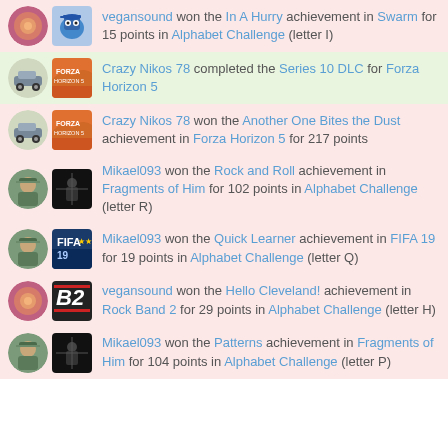vegansound won the In A Hurry achievement in Swarm for 15 points in Alphabet Challenge (letter I)
Crazy Nikos 78 completed the Series 10 DLC for Forza Horizon 5
Crazy Nikos 78 won the Another One Bites the Dust achievement in Forza Horizon 5 for 217 points
Mikael093 won the Rock and Roll achievement in Fragments of Him for 102 points in Alphabet Challenge (letter R)
Mikael093 won the Quick Learner achievement in FIFA 19 for 19 points in Alphabet Challenge (letter Q)
vegansound won the Hello Cleveland! achievement in Rock Band 2 for 29 points in Alphabet Challenge (letter H)
Mikael093 won the Patterns achievement in Fragments of Him for 104 points in Alphabet Challenge (letter P)